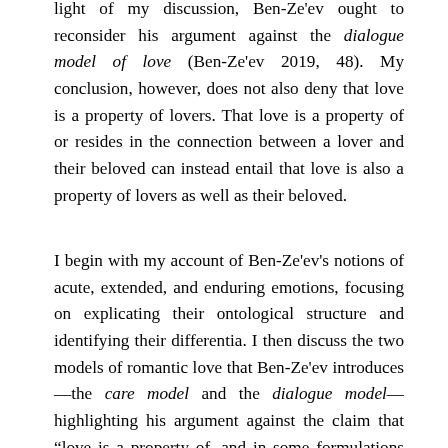light of my discussion, Ben-Ze'ev ought to reconsider his argument against the dialogue model of love (Ben-Ze'ev 2019, 48). My conclusion, however, does not also deny that love is a property of lovers. That love is a property of or resides in the connection between a lover and their beloved can instead entail that love is also a property of lovers as well as their beloved.
I begin with my account of Ben-Ze'ev's notions of acute, extended, and enduring emotions, focusing on explicating their ontological structure and identifying their differentia. I then discuss the two models of romantic love that Ben-Ze'ev introduces—the care model and the dialogue model—highlighting his argument against the claim that “love is a property of, and in some formulations resides in, the connection between the two lovers” (Ben-Ze'ev 2019, 48). Although this claim can be understood in